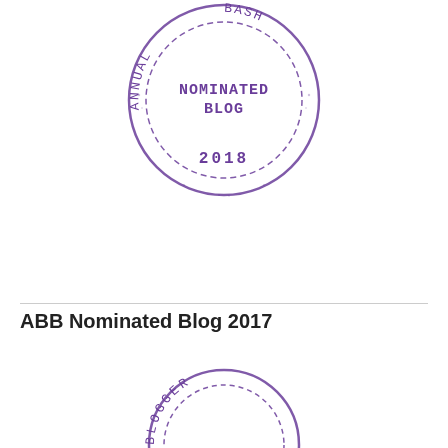[Figure (logo): Circular stamp/badge in purple: 'NOMINATED BLOG' in center, 'ANNUAL' on left arc, 'BASH' on right arc, '2018' at bottom, dashed inner circle border]
ABB Nominated Blog 2017
[Figure (logo): Partial circular stamp/badge in purple at bottom: 'BLOGGER' visible text on arc, partially cropped]